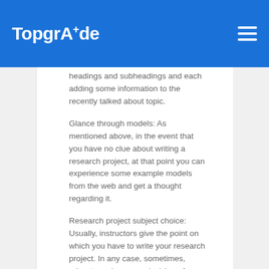TopgrAde
headings and subheadings and each adding some information to the recently talked about topic.
Glance through models: As mentioned above, in the event that you have no clue about writing a research project, at that point you can experience some example models from the web and get a thought regarding it.
Research project subject choice: Usually, instructors give the point on which you have to write your research project. In any case, sometimes, educators give you a decision of selecting a point from the course material.